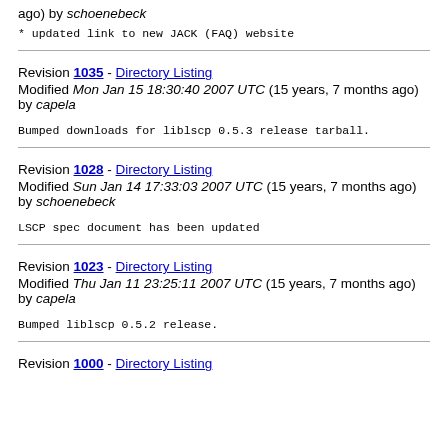ago) by schoenebeck
* updated link to new JACK (FAQ) website
Revision 1035 - Directory Listing
Modified Mon Jan 15 18:30:40 2007 UTC (15 years, 7 months ago) by capela
Bumped downloads for liblscp 0.5.3 release tarball.
Revision 1028 - Directory Listing
Modified Sun Jan 14 17:33:03 2007 UTC (15 years, 7 months ago) by schoenebeck
LSCP spec document has been updated
Revision 1023 - Directory Listing
Modified Thu Jan 11 23:25:11 2007 UTC (15 years, 7 months ago) by capela
Bumped liblscp 0.5.2 release.
Revision 1000 - Directory Listing